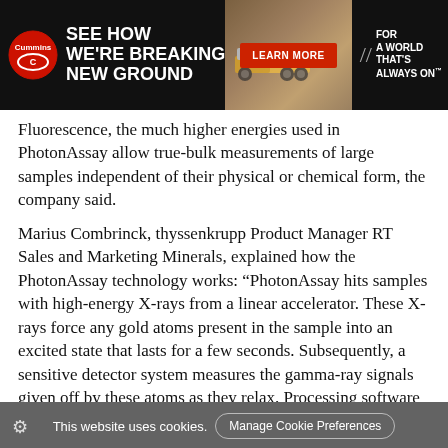[Figure (screenshot): Cummins advertisement banner: dark background with Cummins logo, bold white text 'SEE HOW WE'RE BREAKING NEW GROUND', a mining truck image in center, red 'LEARN MORE' button, and right side text 'FOR A WORLD THAT'S ALWAYS ON']
Fluorescence, the much higher energies used in PhotonAssay allow true-bulk measurements of large samples independent of their physical or chemical form, the company said.
Marius Combrinck, thyssenkrupp Product Manager RT Sales and Marketing Minerals, explained how the PhotonAssay technology works: “PhotonAssay hits samples with high-energy X-rays from a linear accelerator. These X-rays force any gold atoms present in the sample into an excited state that lasts for a few seconds. Subsequently, a sensitive detector system measures the gamma-ray signals given off by these atoms as they relax. Processing software relates the gamma-ray signature back to the gold
This website uses cookies.
Manage Cookie Preferences